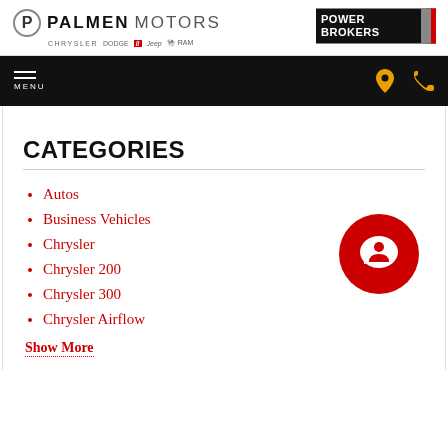Palmen Motors - Chrysler Dodge Jeep Ram - Power Brokers
MENU
CATEGORIES
Autos
Business Vehicles
Chrysler
Chrysler 200
Chrysler 300
Chrysler Airflow
Show More